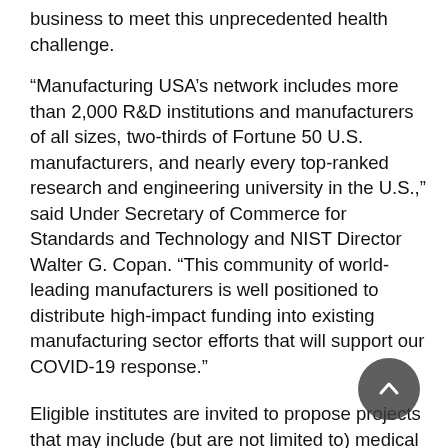business to meet this unprecedented health challenge.
“Manufacturing USA’s network includes more than 2,000 R&D institutions and manufacturers of all sizes, two-thirds of Fortune 50 U.S. manufacturers, and nearly every top-ranked research and engineering university in the U.S.,” said Under Secretary of Commerce for Standards and Technology and NIST Director Walter G. Copan. “This community of world-leading manufacturers is well positioned to distribute high-impact funding into existing manufacturing sector efforts that will support our COVID-19 response.”
Eligible institutes are invited to propose projects that may include (but are not limited to) medical or nonmedical countermeasures; grants to accelerate production of critical materials, equipment and supplies; additional production facilities; technology road-mapping for pandemic response and recovery; leveraging institute capabilities to strengthen state and community resilience; returning to the U.S. the manufacture of critical conventional drugs and ensuring